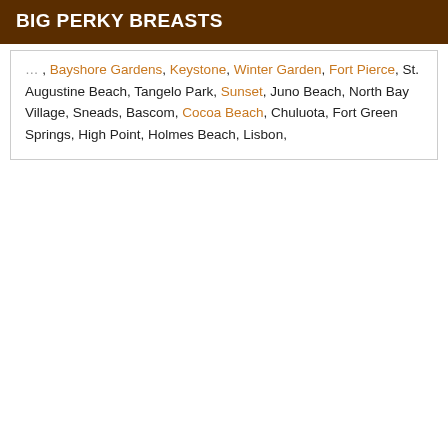BIG PERKY BREASTS
Bayshore Gardens, Keystone, Winter Garden, Fort Pierce, St. Augustine Beach, Tangelo Park, Sunset, Juno Beach, North Bay Village, Sneads, Bascom, Cocoa Beach, Chuluota, Fort Green Springs, High Point, Holmes Beach, Lisbon,